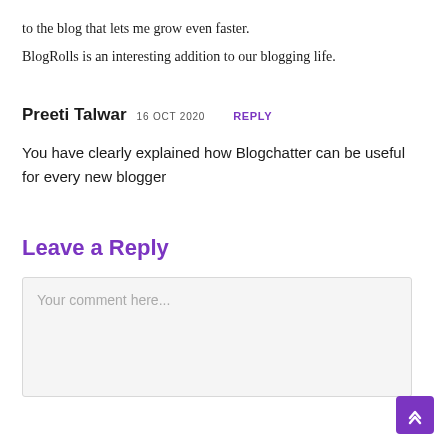to the blog that lets me grow even faster.
BlogRolls is an interesting addition to our blogging life.
Preeti Talwar  16 OCT 2020  REPLY
You have clearly explained how Blogchatter can be useful for every new blogger
Leave a Reply
Your comment here...